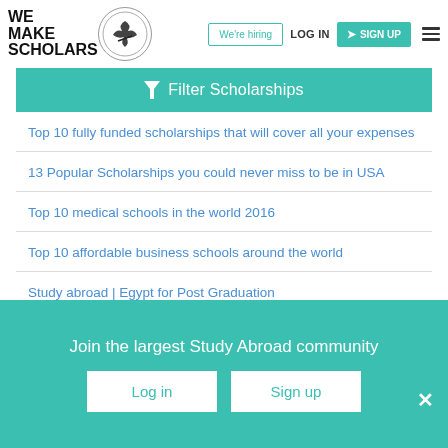WE MAKE SCHOLARS | We're hiring | LOG IN | SIGN UP
Filter Scholarships
Top 10 fully funded scholarships that will cover all your expenses
13 Popular Scholarships you could never miss to be in USA
Top 10 medical schools in the world 2016
Top 10 affordable business schools around the world
Study abroad | Egypt for Post Graduation
Join the largest Study Abroad community
Log in | Sign up